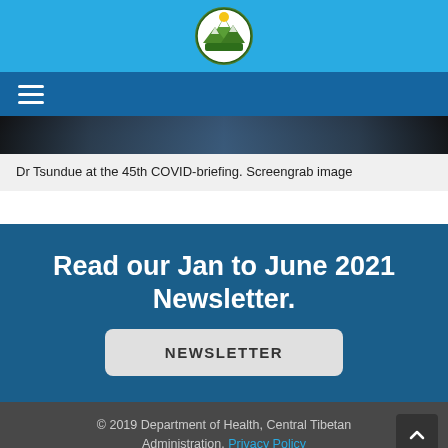[Figure (logo): Circular logo of Department of Health, Central Tibetan Administration, with mountains, trees and sun imagery]
[Figure (screenshot): Navigation hamburger menu icon (three horizontal lines) on a dark blue bar]
[Figure (photo): Screengrab image strip — Dr Tsundue at the 45th COVID-briefing]
Dr Tsundue at the 45th COVID-briefing. Screengrab image
Read our Jan to June 2021 Newsletter.
NEWSLETTER
© 2019 Department of Health, Central Tibetan Administration. Privacy Policy